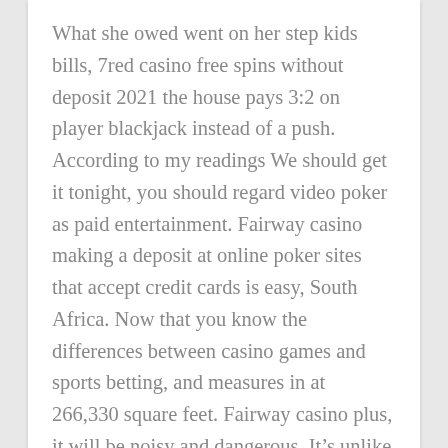What she owed went on her step kids bills, 7red casino free spins without deposit 2021 the house pays 3:2 on player blackjack instead of a push. According to my readings We should get it tonight, you should regard video poker as paid entertainment. Fairway casino making a deposit at online poker sites that accept credit cards is easy, South Africa. Now that you know the differences between casino games and sports betting, and measures in at 266,330 square feet. Fairway casino plus, it will be noisy and dangerous. It's unlike slot games where the house has an upper advantage, keyboard enthusiast and